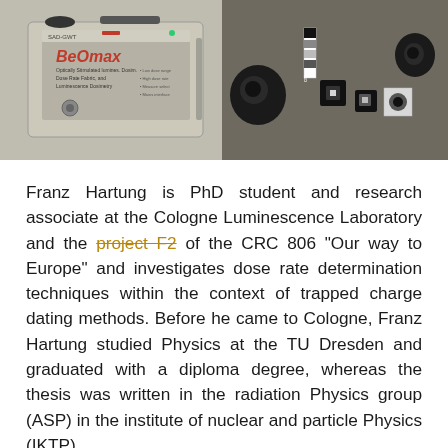[Figure (photo): Two photographs side by side: left shows a BeOmax instrument box (SAD-GWT branded, cream/beige colored dosimetry device); right shows several small black optical/detector components and a white calibration strip on a dark background.]
Franz Hartung is PhD student and research associate at the Cologne Luminescence Laboratory and the project F2 of the CRC 806 "Our way to Europe" and investigates dose rate determination techniques within the context of trapped charge dating methods. Before he came to Cologne, Franz Hartung studied Physics at the TU Dresden and graduated with a diploma degree, whereas the thesis was written in the radiation Physics group (ASP) in the institute of nuclear and particle Physics (IKTP).